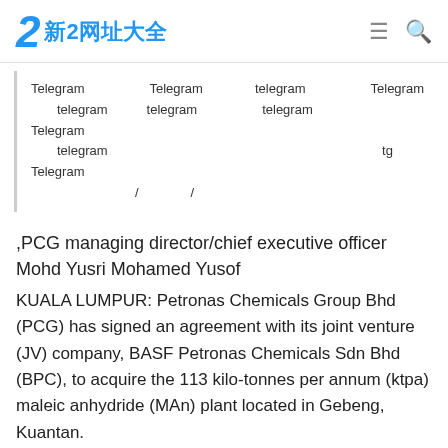新2网址大全
Telegram　　　　　Telegram　　　　telegram　　　　　Telegram　　　　　　telegram　　　telegram　　　　　telegram　　　　　　Telegram 　　　　telegram　　　　　　　　　　　　　　　 　　 　　tg　　　　　Telegram　　　　　　　　　　　　　　　　　/　　　　/
,PCG managing director/chief executive officer Mohd Yusri Mohamed Yusof
KUALA LUMPUR: Petronas Chemicals Group Bhd (PCG) has signed an agreement with its joint venture (JV) company, BASF Petronas Chemicals Sdn Bhd (BPC), to acquire the 113 kilo-tonnes per annum (ktpa) maleic anhydride (MAn) plant located in Gebeng, Kuantan. In a statement, PCG said the MAn plant was previously shut down by BPC following a product portfolio realignment